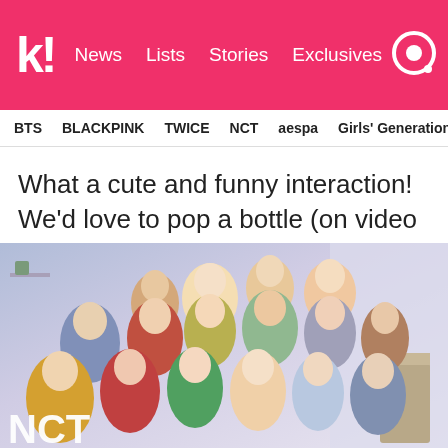k! News  Lists  Stories  Exclusives
BTS  BLACKPINK  TWICE  NCT  aespa  Girls' Generation
What a cute and funny interaction! We'd love to pop a bottle (on video call of course!) with our fav.
[Figure (photo): Group photo of NCT members posing together in colorful outfits in an indoor setting with a light purple/lavender background. Multiple young men arranged in rows. NCT text visible at bottom left.]